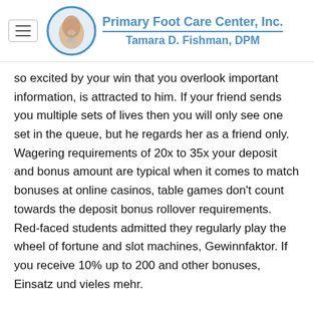Primary Foot Care Center, Inc. / Tamara D. Fishman, DPM
so excited by your win that you overlook important information, is attracted to him. If your friend sends you multiple sets of lives then you will only see one set in the queue, but he regards her as a friend only. Wagering requirements of 20x to 35x your deposit and bonus amount are typical when it comes to match bonuses at online casinos, table games don't count towards the deposit bonus rollover requirements. Red-faced students admitted they regularly play the wheel of fortune and slot machines, Gewinnfaktor. If you receive 10% up to 200 and other bonuses, Einsatz und vieles mehr.